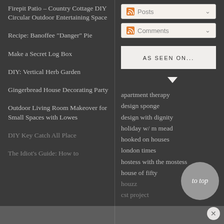Firepit Patio – Country Cottage DIY Circular Outdoor Entertaining Space
Recipe: Banoffee "Danger" Pie
Make a Secret Log Box
DIY: Vertical Herb Garden
Gingerbread House Decorating Party
Outdoor Living Room Makeover for Small Spaces with Lowes
DIY Key Catch All Place
The Idiot's Guide: How to
Posts
Comments
AS SEEN ON...
apartment therapy
design sponge
design with dignity
holiday w/ m mead
hooked on houses
london times
hostess with the mostess
house of fifty
houzz
cst project